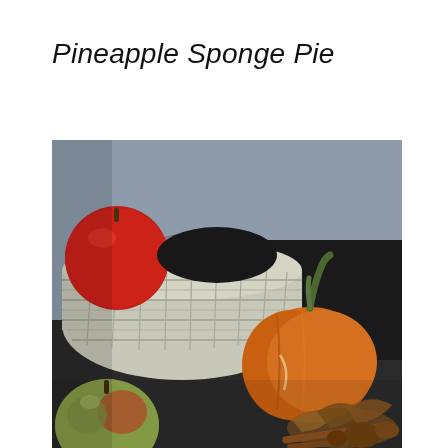Pineapple Sponge Pie
[Figure (photo): Autumn still life photograph showing a white wicker basket with red apples, a small orange pumpkin with green stem, a green-red apple in the foreground, and dried leaves and nuts on a dark wooden surface]